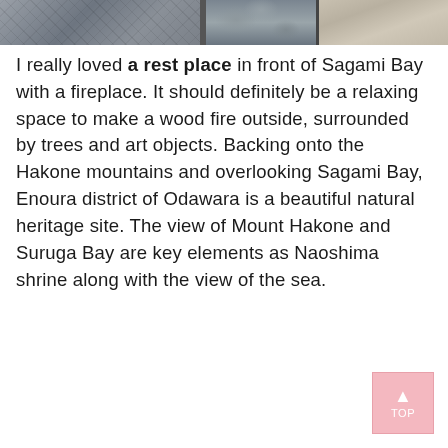[Figure (photo): Top strip showing paving stones on the left, rounded river pebbles in the middle, and sandy gravel on the right]
I really loved a rest place in front of Sagami Bay with a fireplace. It should definitely be a relaxing space to make a wood fire outside, surrounded by trees and art objects. Backing onto the Hakone mountains and overlooking Sagami Bay, Enoura district of Odawara is a beautiful natural heritage site. The view of Mount Hakone and Suruga Bay are key elements as Naoshima shrine along with the view of the sea.